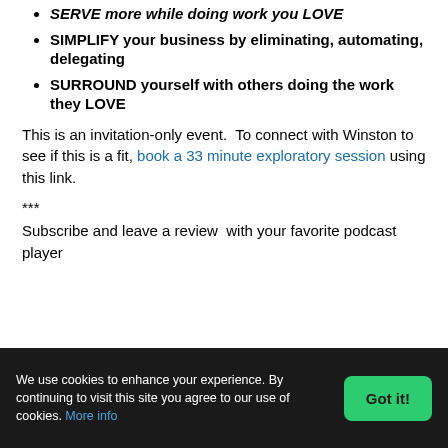SERVE more while doing work you LOVE
SIMPLIFY your business by eliminating, automating, delegating
SURROUND yourself with others doing the work they LOVE
This is an invitation-only event.  To connect with Winston to see if this is a fit, book a 33 minute exploratory session using this link.
***
Subscribe and leave a review  with your favorite podcast player
We use cookies to enhance your experience. By continuing to visit this site you agree to our use of cookies. More info